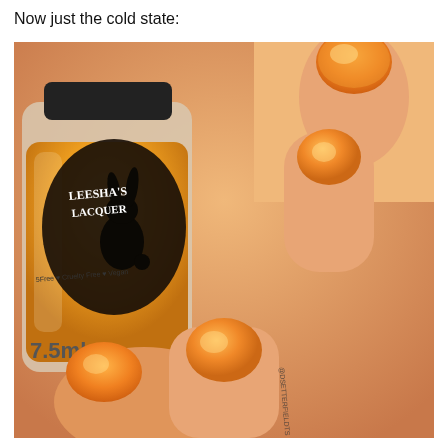Now just the cold state:
[Figure (photo): A bottle of Leesha's Lacquer nail polish (7.5ml, 5-free, Cruelty Free, Vegan) shown beside a hand with fingers displaying an orange shimmer nail polish in the cold state.]